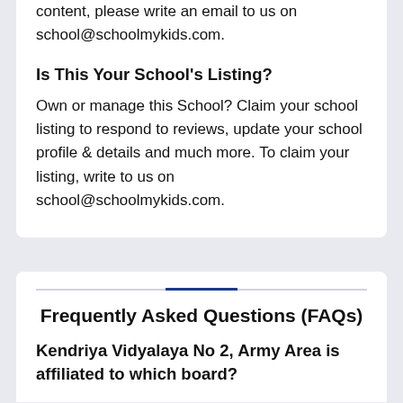content, please write an email to us on school@schoolmykids.com.
Is This Your School's Listing?
Own or manage this School? Claim your school listing to respond to reviews, update your school profile & details and much more. To claim your listing, write to us on school@schoolmykids.com.
Frequently Asked Questions (FAQs)
Kendriya Vidyalaya No 2, Army Area is affiliated to which board?